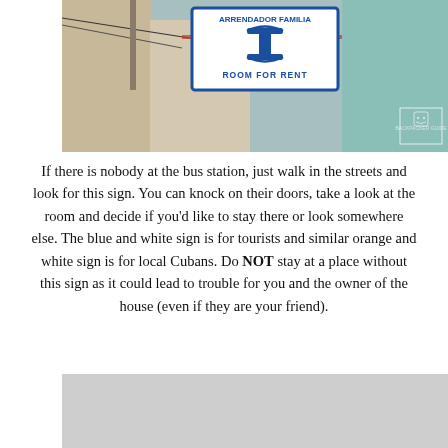[Figure (photo): A street scene in Cuba showing a blue and white 'Arrendador Familia / Room for Rent' sign hanging outside a building. Colorful colonial buildings visible in background. Small watermark box in lower right corner of photo.]
If there is nobody at the bus station, just walk in the streets and look for this sign. You can knock on their doors, take a look at the room and decide if you'd like to stay there or look somewhere else. The blue and white sign is for tourists and similar orange and white sign is for local Cubans. Do NOT stay at a place without this sign as it could lead to trouble for you and the owner of the house (even if they are your friend).
[Figure (photo): A partially visible photo at the bottom of the page, appears light gray/overexposed, contents unclear.]